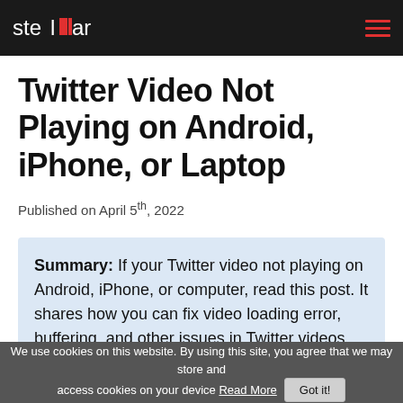stellar
Twitter Video Not Playing on Android, iPhone, or Laptop
Published on April 5th, 2022
Summary: If your Twitter video not playing on Android, iPhone, or computer, read this post. It shares how you can fix video loading error, buffering, and other issues in Twitter videos.
We use cookies on this website. By using this site, you agree that we may store and access cookies on your device Read More  Got it!